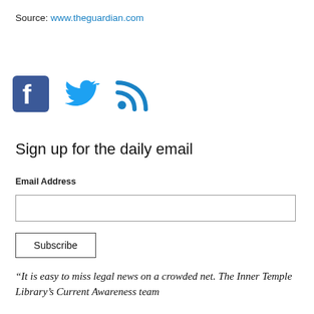Source: www.theguardian.com
[Figure (illustration): Social media icons: Facebook (blue square with white f), Twitter (blue bird), RSS feed (blue signal icon)]
Sign up for the daily email
Email Address
Subscribe
“It is easy to miss legal news on a crowded net. The Inner Temple Library’s Current Awareness team